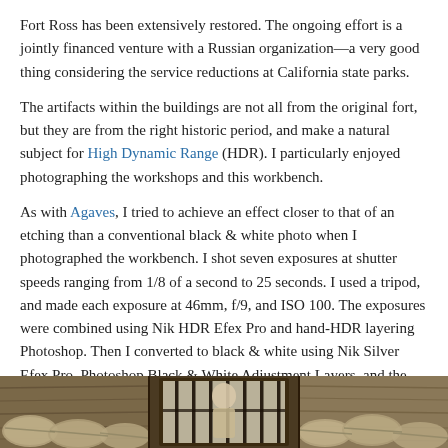Fort Ross has been extensively restored. The ongoing effort is a jointly financed venture with a Russian organization—a very good thing considering the service reductions at California state parks.
The artifacts within the buildings are not all from the original fort, but they are from the right historic period, and make a natural subject for High Dynamic Range (HDR). I particularly enjoyed photographing the workshops and this workbench.
As with Agaves, I tried to achieve an effect closer to that of an etching than a conventional black & white photo when I photographed the workbench. I shot seven exposures at shutter speeds ranging from 1/8 of a second to 25 seconds. I used a tripod, and made each exposure at 46mm, f/9, and ISO 100. The exposures were combined using Nik HDR Efex Pro and hand-HDR layering Photoshop. Then I converted to black & white using Nik Silver Efex Pro, Photoshop Black & White Adjustment Layers, and the monochromatic presets in Nik HDR Efex Pro.
Multi-shot HDR photography does take a bit of care, not to mention some time. So I was lucky the boys were happy playing in the fort, and clambering on and off the canons. They are shown with one below.
[Figure (photo): A workshop interior photo strip showing wooden barrels and a window with bars in an old fort setting]